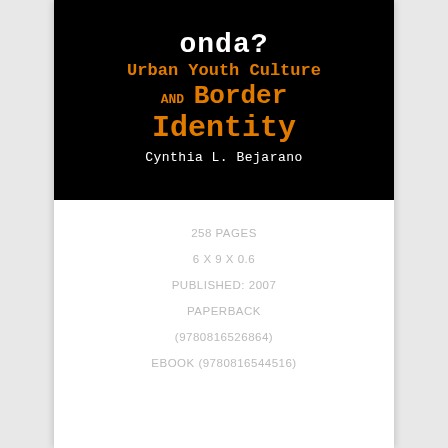[Figure (illustration): Book cover for 'que onda? Urban Youth Culture and Border Identity' by Cynthia L. Bejarano. Black background with white and orange text in a typewriter-style font.]
258 PAGES
6 X 9 X 0.6
PUBLISHED: 2007
PAPERBACK
(9780816526864)
EBOOK (9780816544516)